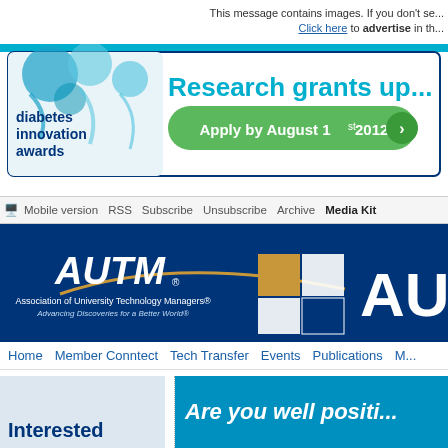This message contains images. If you don't se... Click here to advertise in th...
[Figure (illustration): Diabetes Innovation Awards banner ad with blue ribbons, text 'diabetes innovation awards', 'Research grants up...' in teal, green button 'Apply by August 1st 2012']
Mobile version   RSS   Subscribe   Unsubscribe   Archive   Media Kit
[Figure (logo): AUTM - Association of University Technology Managers banner with logo and Microsoft-style colored squares]
Home   Member Conntect   Tech Transfer   Events   Publications   M...
[Figure (illustration): Left: gray box with text 'Interested'. Right: dark blue box with text 'Are you well positi...']